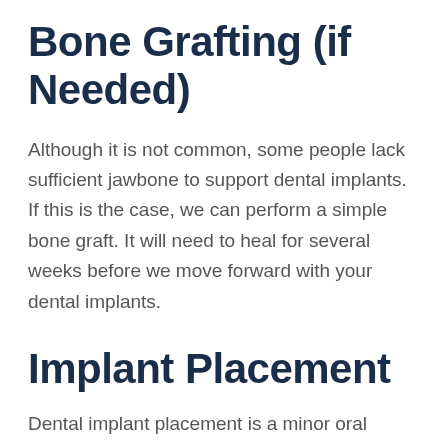Bone Grafting (if Needed)
Although it is not common, some people lack sufficient jawbone to support dental implants. If this is the case, we can perform a simple bone graft. It will need to heal for several weeks before we move forward with your dental implants.
Implant Placement
Dental implant placement is a minor oral surgery. After numbing your mouth, a small flap will be made in your gum tissue and then, using a series of drills, a tiny, precise